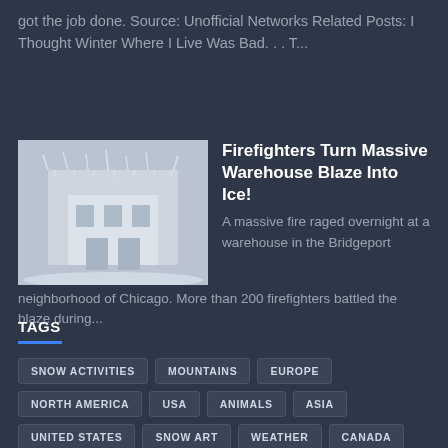got the job done. Source: Unofficial Networks Related Posts: I Thought Winter Where I Live Was Bad. . . T...
[Figure (photo): A building covered in ice and snow, black and white / cold-toned photograph of a warehouse frozen after firefighting efforts.]
Firefighters Turn Massive Warehouse Blaze Into Ice!
A massive fire raged overnight at a warehouse in the Bridgeport neighborhood of Chicago. More than 200 firefighters battled the blaze during...
TAGS
SNOW ACTIVITIES
MOUNTAINS
EUROPE
NORTH AMERICA
USA
ANIMALS
ASIA
UNITED STATES
SNOW ART
WEATHER
CANADA
SKIING
POWDER
NORWAY
SWITZERLAND
ICELAND
PHOTOGRAPHER